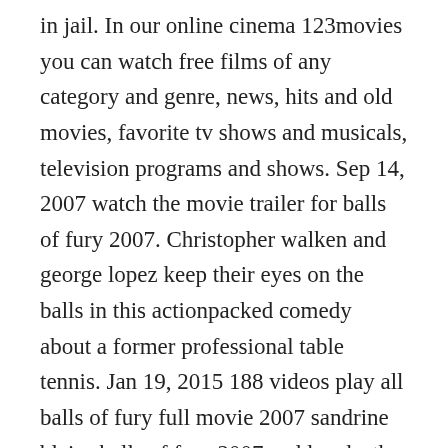in jail. In our online cinema 123movies you can watch free films of any category and genre, news, hits and old movies, favorite tv shows and musicals, television programs and shows. Sep 14, 2007 watch the movie trailer for balls of fury 2007. Christopher walken and george lopez keep their eyes on the balls in this actionpacked comedy about a former professional table tennis. Jan 19, 2015 188 videos play all balls of fury full movie 2007 sandrine blaise balls of fury 2007 sudden death scene 610 movieclips duration. Fury was a player versus player pvp competitive